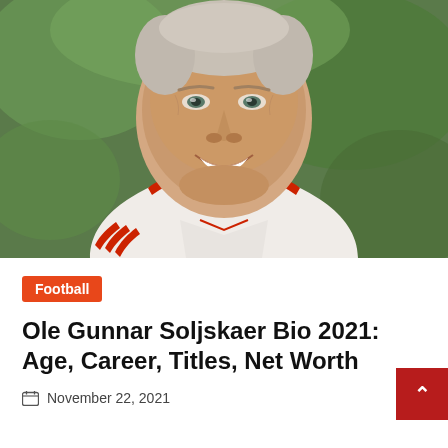[Figure (photo): Headshot of Ole Gunnar Solskjaer smiling, wearing a white and red Manchester United training jacket, with green blurred background]
Football
Ole Gunnar Soljskaer Bio 2021: Age, Career, Titles, Net Worth
November 22, 2021